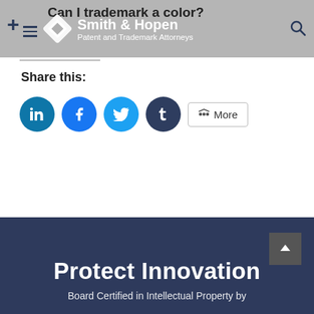Can I trademark a color? — Smith & Hopen Patent and Trademark Attorneys
Share this:
[Figure (screenshot): Social share buttons: LinkedIn (blue circle), Facebook (blue circle), Twitter (teal circle), Tumblr (dark blue circle), and a More button]
Protect Innovation
Board Certified in Intellectual Property by